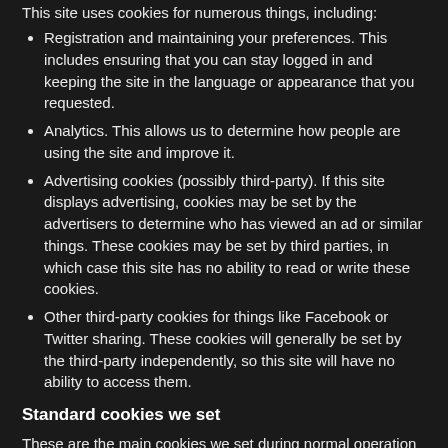This site uses cookies for numerous things, including:
Registration and maintaining your preferences. This includes ensuring that you can stay logged in and keeping the site in the language or appearance that you requested.
Analytics. This allows us to determine how people are using the site and improve it.
Advertising cookies (possibly third-party). If this site displays advertising, cookies may be set by the advertisers to determine who has viewed an ad or similar things. These cookies may be set by third parties, in which case this site has no ability to read or write these cookies.
Other third-party cookies for things like Facebook or Twitter sharing. These cookies will generally be set by the third-party independently, so this site will have no ability to access them.
Standard cookies we set
These are the main cookies we set during normal operation of the software.
xf_csrf
Stores a token, unique to you, which is used to